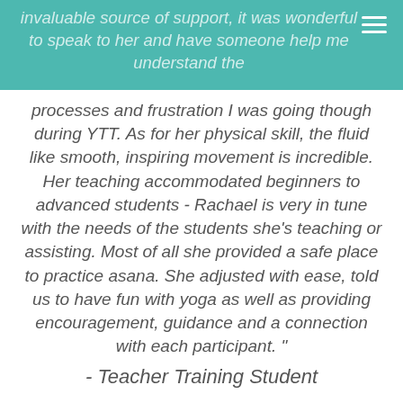invaluable source of support, it was wonderful to speak to her and have someone help me understand the processes and frustration I was going though during YTT. As for her physical skill, the fluid like smooth, inspiring movement is incredible. Her teaching accommodated beginners to advanced students - Rachael is very in tune with the needs of the students she's teaching or assisting. Most of all she provided a safe place to practice asana. She adjusted with ease, told us to have fun with yoga as well as providing encouragement, guidance and a connection with each participant. "
- Teacher Training Student